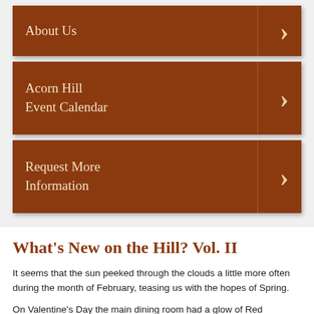About Us
Acorn Hill Event Calendar
Request More Information
What’s New on the Hill? Vol. II
It seems that the sun peeked through the clouds a little more often during the month of February, teasing us with the hopes of Spring.
On Valentine’s Day the main dining room had a glow of Red